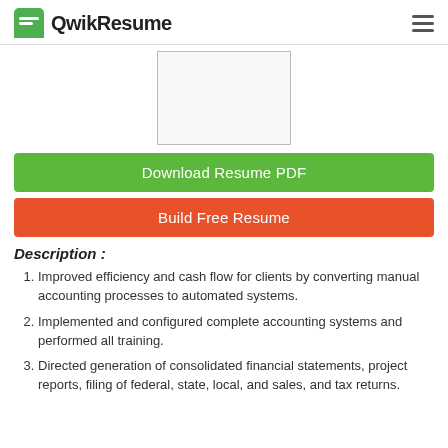QwikResume
[Figure (other): Partial preview of a resume document shown as a cropped white box with border]
Download Resume PDF
Build Free Resume
Description :
Improved efficiency and cash flow for clients by converting manual accounting processes to automated systems.
Implemented and configured complete accounting systems and performed all training.
Directed generation of consolidated financial statements, project reports, filing of federal, state, local, and sales, and tax returns.